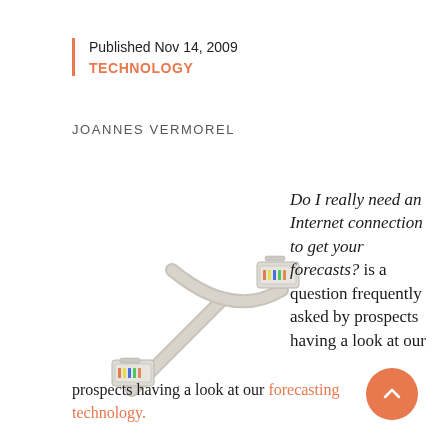Published Nov 14, 2009
TECHNOLOGY
JOANNES VERMOREL
[Figure (photo): Two RJ45 ethernet cable connectors crossed, on a white background]
Do I really need an Internet connection to get your forecasts? is a question frequently asked by prospects having a look at our forecasting technology.